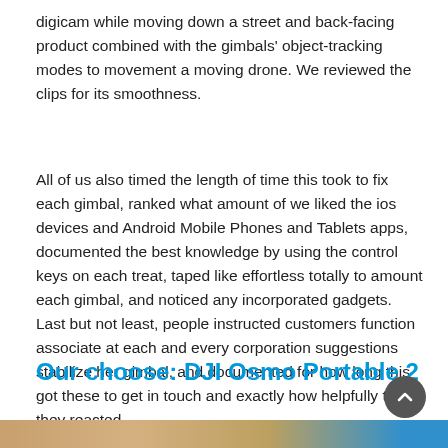digicam while moving down a street and back-facing product combined with the gimbals' object-tracking modes to movement a moving drone. We reviewed the clips for its smoothness.
All of us also timed the length of time this took to fix each gimbal, ranked what amount of we liked the ios devices and Android Mobile Phones and Tablets apps, documented the best knowledge by using the control keys on each treat, taped like effortless totally to amount each gimbal, and noticed any incorporated gadgets. Last but not least, people instructed customers function associate at each and every corporation suggestions stabilize her gimbal, and documented for how long this got these to get in touch and exactly how helpfully that they reacted.
Our choose: DJI Osmo Portable 2
[Figure (photo): Partial image strip visible at bottom of page]